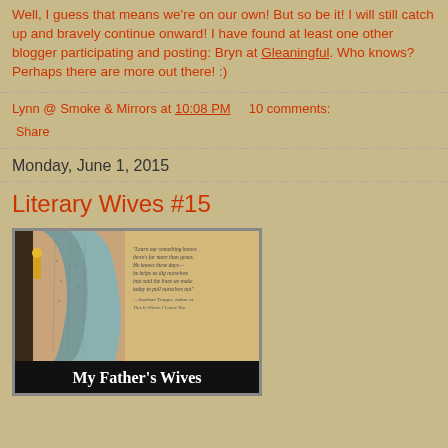Well, I guess that means we're on our own! But so be it! I will still catch up and bravely continue onward! I have found at least one other blogger participating and posting: Bryn at Gleaningful. Who knows? Perhaps there are more out there! :)
Lynn @ Smoke & Mirrors at 10:08 PM    10 comments:
Share
Monday, June 1, 2015
Literary Wives #15
[Figure (photo): Book cover of 'My Father's Wives' with a teal/grey fabric draped over a door or hook, with a quote text on the right side and the title 'My Father's Wives' on a black band at the bottom.]